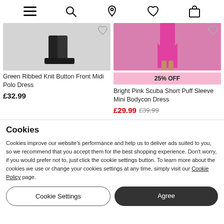Navigation icons: menu, search, location, wishlist, bag
[Figure (photo): Product photo of Green Ribbed Knit Button Front Midi Polo Dress showing black boots at bottom on grey background]
[Figure (photo): Product photo of Bright Pink Scuba Short Puff Sleeve Mini Bodycon Dress showing pink dress on model, cropped]
Green Ribbed Knit Button Front Midi Polo Dress
£32.99
25% OFF
Bright Pink Scuba Short Puff Sleeve Mini Bodycon Dress
£29.99 £39.99
Cookies
Cookies improve our website's performance and help us to deliver ads suited to you, so we recommend that you accept them for the best shopping experience. Don't worry, if you would prefer not to, just click the cookie settings button. To learn more about the cookies we use or change your cookies settings at any time, simply visit our Cookie Policy page.
Cookie Settings
Agree